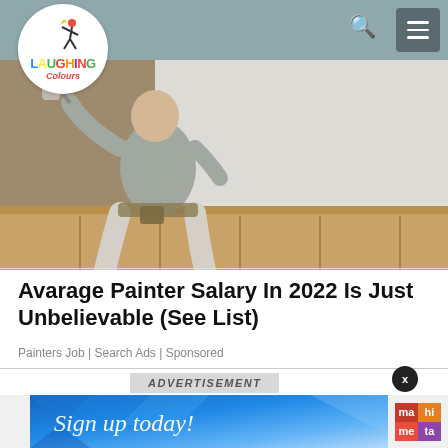Laughing Colours
[Figure (photo): A painter seen from behind painting a wall white, wearing a grey t-shirt and light pants, in a room with wooden wainscoting railing]
Avarage Painter Salary In 2022 Is Just Unbelievable (See List)
Painters Job | Search Ads | Sponsored
ADVERTISEMENT
[Figure (illustration): Sign up today! advertisement banner with blue geometric background and MaHiMeTa logo]